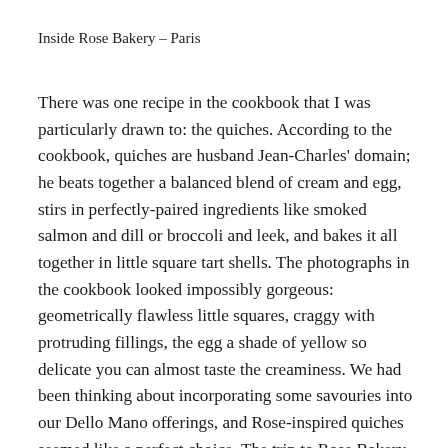Inside Rose Bakery – Paris
There was one recipe in the cookbook that I was particularly drawn to: the quiches. According to the cookbook, quiches are husband Jean-Charles' domain; he beats together a balanced blend of cream and egg, stirs in perfectly-paired ingredients like smoked salmon and dill or broccoli and leek, and bakes it all together in little square tart shells. The photographs in the cookbook looked impossibly gorgeous: geometrically flawless little squares, craggy with protruding fillings, the egg a shade of yellow so delicate you can almost taste the creaminess. We had been thinking about incorporating some savouries into our Dello Mano offerings, and Rose-inspired quiches seemed like a perfect choice. The trip to Rose Bakery would be research, then, and any amount of indulgence entirely justified.